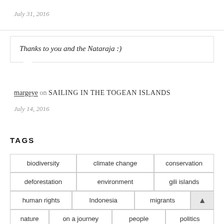July 31, 2016
Thanks to you and the Nataraja :)
margeye on SAILING IN THE TOGEAN ISLANDS
July 14, 2016
TAGS
biodiversity
climate change
conservation
deforestation
environment
gili islands
human rights
Indonesia
migrants
nature
on a journey
people
politics